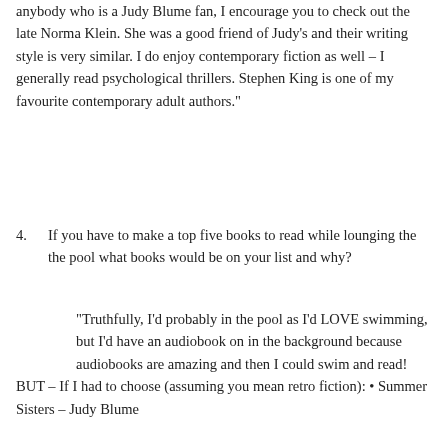anybody who is a Judy Blume fan, I encourage you to check out the late Norma Klein. She was a good friend of Judy's and their writing style is very similar. I do enjoy contemporary fiction as well – I generally read psychological thrillers. Stephen King is one of my favourite contemporary adult authors."
4.  If you have to make a top five books to read while lounging the the pool what books would be on your list and why?
"Truthfully, I'd probably in the pool as I'd LOVE swimming, but I'd have an audiobook on in the background because audiobooks are amazing and then I could swim and read! BUT – If I had to choose (assuming you mean retro fiction): • Summer Sisters – Judy Blume
[Figure (photo): A partial image strip visible at the bottom of the page, appears to be a photo background, light gray/beige toned.]